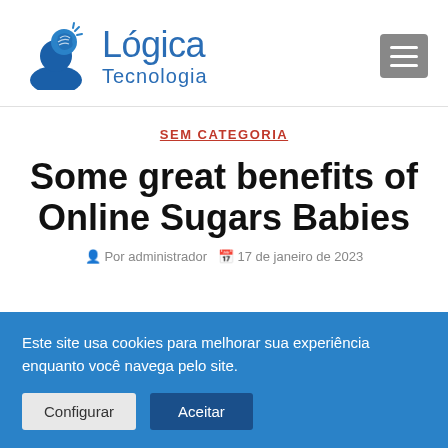[Figure (logo): Lógica Tecnologia logo with brain/person icon in blue and text 'Lógica Tecnologia']
SEM CATEGORIA
Some great benefits of Online Sugars Babies
Este site usa cookies para melhorar sua experiência enquanto você navega pelo site.
Configurar  Aceitar